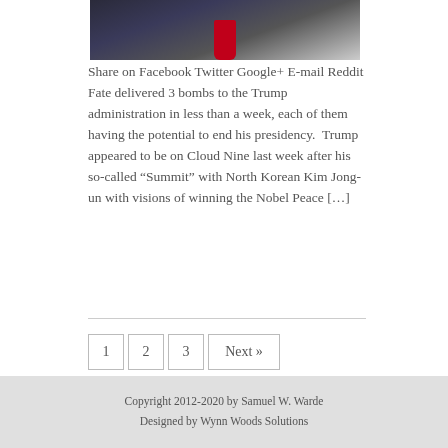[Figure (photo): Partial photo of a person in a dark suit and red tie, upper body visible against a dark/striped background]
Share on Facebook Twitter Google+ E-mail Reddit Fate delivered 3 bombs to the Trump administration in less than a week, each of them having the potential to end his presidency.  Trump appeared to be on Cloud Nine last week after his so-called “Summit” with North Korean Kim Jong-un with visions of winning the Nobel Peace […]
1 2 3 Next »
Copyright 2012-2020 by Samuel W. Warde
Designed by Wynn Woods Solutions